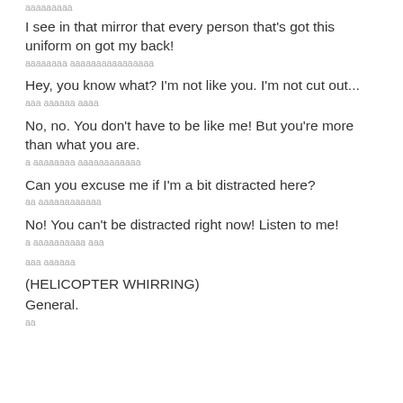I see in that mirror that every person that's got this uniform on got my back!
[redacted subtitle line 1]
Hey, you know what? I'm not like you. I'm not cut out...
[redacted subtitle line 2]
No, no. You don't have to be like me! But you're more than what you are.
[redacted subtitle line 3]
Can you excuse me if I'm a bit distracted here?
[redacted subtitle line 4]
No! You can't be distracted right now! Listen to me!
[redacted subtitle line 5]
[redacted subtitle line 6]
(HELICOPTER WHIRRING)
General.
[redacted subtitle line 7]